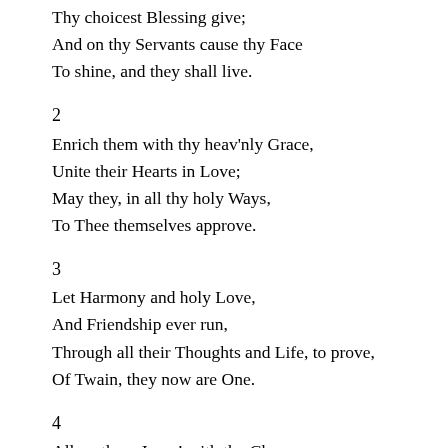Thy choicest Blessing give;
And on thy Servants cause thy Face
To shine, and they shall live.
2
Enrich them with thy heav'nly Grace,
Unite their Hearts in Love;
May they, in all thy holy Ways,
To Thee themselves approve.
3
Let Harmony and holy Love,
And Friendship ever run,
Through all their Thoughts and Life, to prove,
Of Twain, they now are One.
4
Allure them Jesus! with thy Charms,
And joyfully they'l flee
By Faith and Love into thine Arms,
And thus be One in Thee.
5
Adorn their House, adorn their Ways,
With Fruit divinely Fair: